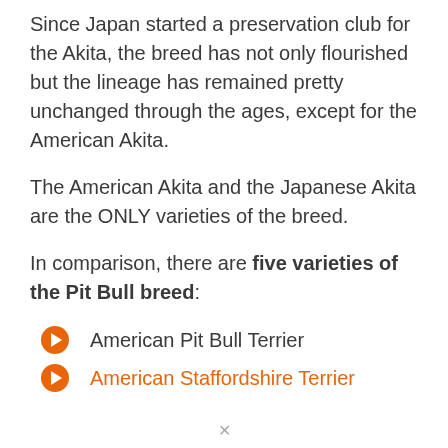Since Japan started a preservation club for the Akita, the breed has not only flourished but the lineage has remained pretty unchanged through the ages, except for the American Akita.
The American Akita and the Japanese Akita are the ONLY varieties of the breed.
In comparison, there are five varieties of the Pit Bull breed:
American Pit Bull Terrier
American Staffordshire Terrier